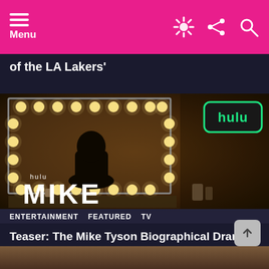Menu
of the LA Lakers'
[Figure (screenshot): Hulu promotional image for 'MIKE' series showing a silhouette of a person seated at a dressing room mirror with bulb lighting, with the Hulu logo in the top right corner and the text 'hulu' and 'MIKE' overlaid at the bottom left]
ENTERTAINMENT   FEATURED   TV
Teaser: The Mike Tyson Biographical Drama Series Coming To Hulu